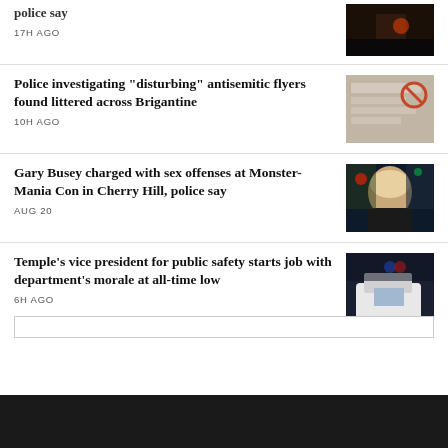17H AGO
Police investigating "disturbing" antisemitic flyers found littered across Brigantine
10H AGO
Gary Busey charged with sex offenses at Monster-Mania Con in Cherry Hill, police say
AUG 20
Temple's vice president for public safety starts job with department's morale at all-time low
6H AGO